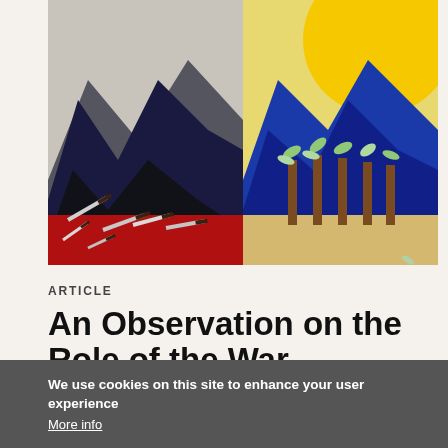[Figure (illustration): Split artwork showing two contrasting scenes: left half shows dark mountains with knives on a red surface (black, navy, red tones); right half shows blue mountains with pencils and leaf shapes against a yellow sun on a sandy background.]
ARTICLE
An Observation on the Role of the War Impacting Contemporary Afghan Literature:
We use cookies on this site to enhance your user experience
More info